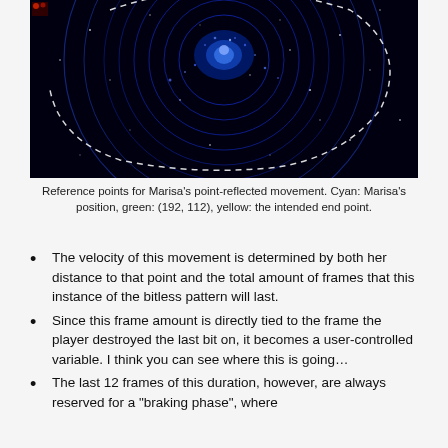[Figure (screenshot): A dark blue/black game screenshot showing circular orbital or bullet patterns with stars, representing Marisa's point-reflected movement. White dashed arc and blue concentric rings visible.]
Reference points for Marisa's point-reflected movement. Cyan: Marisa's position, green: (192, 112), yellow: the intended end point.
The velocity of this movement is determined by both her distance to that point and the total amount of frames that this instance of the bitless pattern will last.
Since this frame amount is directly tied to the frame the player destroyed the last bit on, it becomes a user-controlled variable. I think you can see where this is going…
The last 12 frames of this duration, however, are always reserved for a "braking phase", where